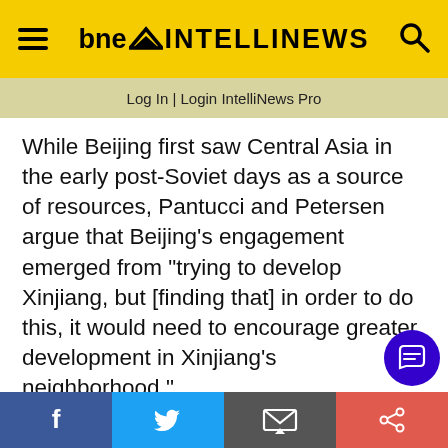bne INTELLINEWS
Log In | Login IntelliNews Pro
While Beijing first saw Central Asia in the early post-Soviet days as a source of resources, Pantucci and Petersen argue that Beijing’s engagement emerged from “trying to develop Xinjiang, but [finding that] in order to do this, it would need to encourage greater development in Xinjiang’s neighborhood.”
If the desire to control Xinjiang and seek new
We use cookies to ensure that we give you the best experience on our website. If you continue we’ll assume that you are happy to receive all cookies from this website. Accept  View Cookie
Facebook | Twitter | Email | Share